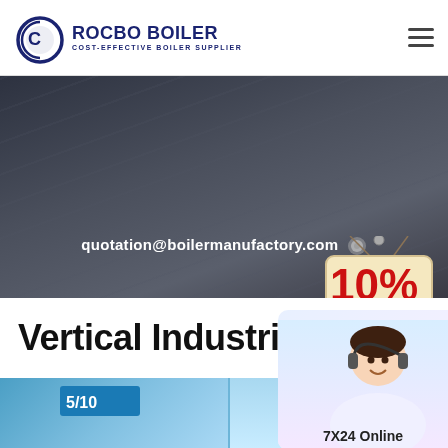[Figure (logo): Rocbo Boiler logo with blue circular icon and text 'ROCBO BOILER' and subtitle 'COST-EFFECTIVE BOILER SUPPLIER']
quotation@boilermanufactory.com
[Figure (infographic): 10% DISCOUNT badge/sign hanging from a string]
Vertical Industrial
[Figure (photo): Industrial boiler facility interior with blue boiler equipment visible, and customer service representative with headset overlay showing '7X24 Online']